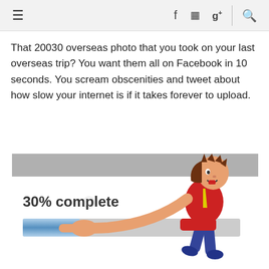≡  f  [instagram]  g+  [search]
That 20030 overseas photo that you took on your last overseas trip? You want them all on Facebook in 10 seconds. You scream obscenities and tweet about how slow your internet is if it takes forever to upload.
[Figure (illustration): Cartoon illustration of a frustrated man pointing at a progress bar showing '30% complete', leaning on the progress bar interface. Watermark visible in background.]